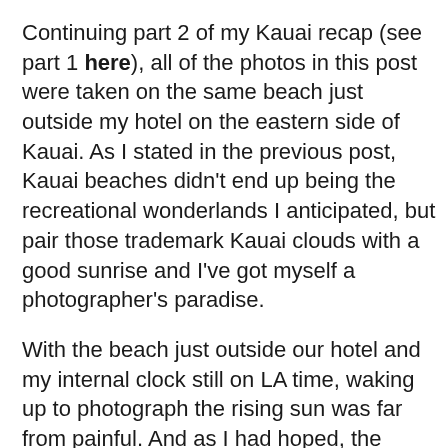Continuing part 2 of my Kauai recap (see part 1 here), all of the photos in this post were taken on the same beach just outside my hotel on the eastern side of Kauai. As I stated in the previous post, Kauai beaches didn't end up being the recreational wonderlands I anticipated, but pair those trademark Kauai clouds with a good sunrise and I've got myself a photographer's paradise.
With the beach just outside our hotel and my internal clock still on LA time, waking up to photograph the rising sun was far from painful. And as I had hoped, the scattered cloud cover made from some vivid colors. One sunrise in particular was just stunning.
The only thing that was a real pain on these shoots was the sea spray. Now I'm no stranger to sea spray. I've photographed Orange County beaches countless times and I'm well familiar with the annoyance of